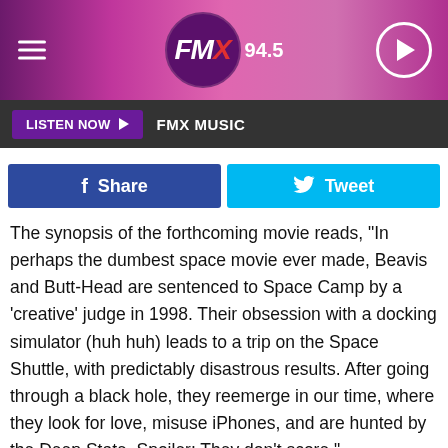FMX 94.5
LISTEN NOW  FMX MUSIC
Share  Tweet
The synopsis of the forthcoming movie reads, "In perhaps the dumbest space movie ever made, Beavis and Butt-Head are sentenced to Space Camp by a 'creative' judge in 1998. Their obsession with a docking simulator (huh huh) leads to a trip on the Space Shuttle, with predictably disastrous results. After going through a black hole, they reemerge in our time, where they look for love, misuse iPhones, and are hunted by the Deep State. Spoiler: They don't score."
With the timeline shift to the present day, the crass,